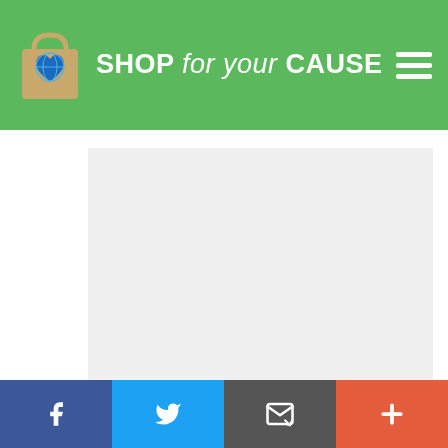SHOP for your CAUSE
[Figure (illustration): Large light grey rectangle content area placeholder below the header]
PEKINGESE ROMANIAN MIORIT...
[Figure (infographic): Social media share bar with Facebook, Twitter, Email, and More buttons at the bottom of the page]